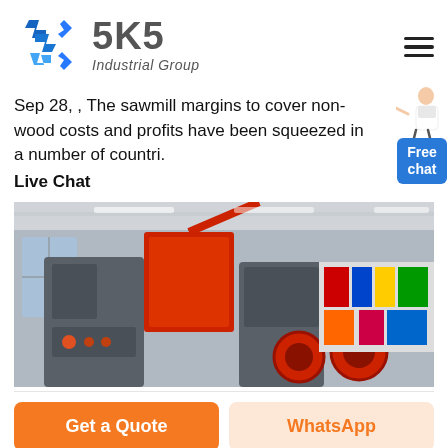[Figure (logo): SKS Industrial Group logo with blue angular S icon and grey SKS text with Industrial Group subtitle]
Sep 28, , The sawmill margins to cover non-wood costs and profits have been squeezed in a number of countri.
Live Chat
[Figure (photo): Large industrial machinery including grey and red shredder/crusher machines in a factory hall with flags in background]
Get a Quote
WhatsApp